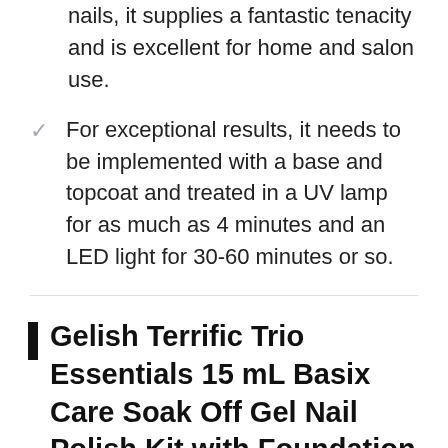nails, it supplies a fantastic tenacity and is excellent for home and salon use.
For exceptional results, it needs to be implemented with a base and topcoat and treated in a UV lamp for as much as 4 minutes and an LED light for 30-60 minutes or so.
Gelish Terrific Trio Essentials 15 mL Basix Care Soak Off Gel Nail Polish Kit with Foundation